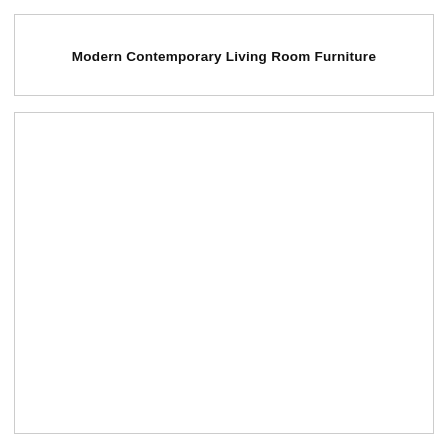Modern Contemporary Living Room Furniture
[Figure (other): Large empty white rectangular box below the title, likely a placeholder for an image of furniture.]